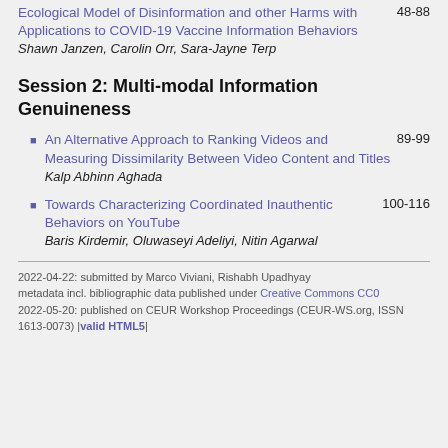Ecological Model of Disinformation and other Harms with Applications to COVID-19 Vaccine Information Behaviors    48-88
Shawn Janzen, Carolin Orr, Sara-Jayne Terp
Session 2: Multi-modal Information Genuineness
An Alternative Approach to Ranking Videos and Measuring Dissimilarity Between Video Content and Titles    89-99
Kalp Abhinn Aghada
Towards Characterizing Coordinated Inauthentic Behaviors on YouTube    100-116
Baris Kirdemir, Oluwaseyi Adeliyi, Nitin Agarwal
2022-04-22: submitted by Marco Viviani, Rishabh Upadhyay metadata incl. bibliographic data published under Creative Commons CC0
2022-05-20: published on CEUR Workshop Proceedings (CEUR-WS.org, ISSN 1613-0073) |valid HTML5|